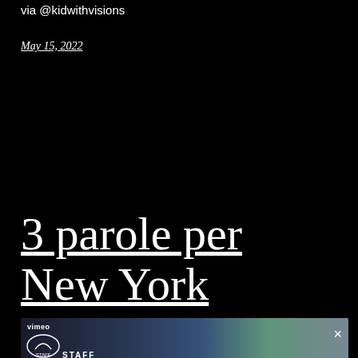via @kidwithvisions
May 15, 2022
3 parole per New York
[Figure (screenshot): Vimeo video thumbnail showing a scene with colorful background, with Vimeo logo badge and a close (×) button in the top-right corner. Text 'STAFF' partially visible at bottom.]